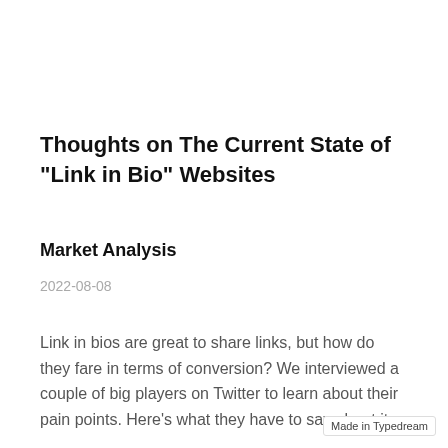Thoughts on The Current State of "Link in Bio" Websites
Market Analysis
2022-08-08
Link in bios are great to share links, but how do they fare in terms of conversion? We interviewed a couple of big players on Twitter to learn about their pain points. Here's what they have to say about it.
Made in Typedream